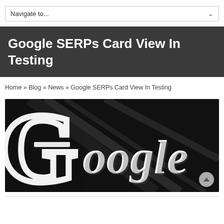Navigate to...
Google SERPs Card View In Testing
Home » Blog » News » Google SERPs Card View In Testing
[Figure (photo): Close-up photo of a white 3D Google logo sign against a dark black background with subtle light streaks]